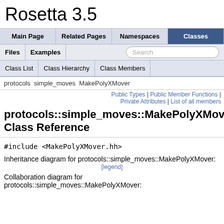Rosetta 3.5
Main Page | Related Pages | Namespaces | Classes | Files | Examples | Search | Class List | Class Hierarchy | Class Members
protocols  simple_moves  MakePolyXMover
Public Types | Public Member Functions | Private Attributes | List of all members
protocols::simple_moves::MakePolyXMover Class Reference
#include <MakePolyXMover.hh>
Inheritance diagram for protocols::simple_moves::MakePolyXMover:
[legend]
Collaboration diagram for protocols::simple_moves::MakePolyXMover: